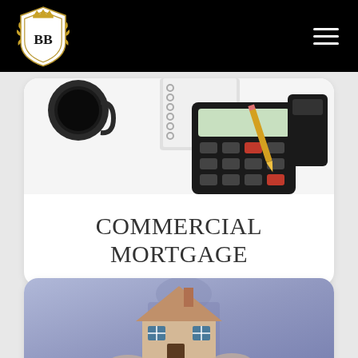BB — Commercial Mortgage website header with logo and hamburger menu
[Figure (photo): Overhead photo of a calculator, coffee cup, notebook with spiral binding, pencil, and a USB drive on a white surface]
COMMERCIAL MORTGAGE
[Figure (photo): Close-up photo of a small wooden toy house model held by hands in blue shirt, blurred background]